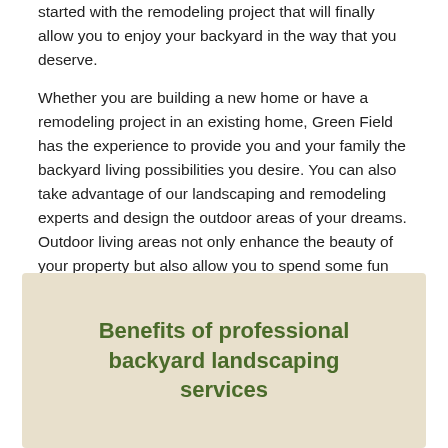started with the remodeling project that will finally allow you to enjoy your backyard in the way that you deserve.
Whether you are building a new home or have a remodeling project in an existing home, Green Field has the experience to provide you and your family the backyard living possibilities you desire. You can also take advantage of our landscaping and remodeling experts and design the outdoor areas of your dreams. Outdoor living areas not only enhance the beauty of your property but also allow you to spend some fun and relaxed moments with family and friends.
Benefits of professional backyard landscaping services